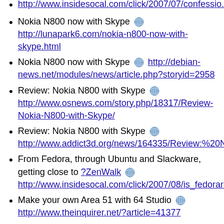Nokia N800 now with Skype http://lunapark6.com/nokia-n800-now-with-skype.html
Nokia N800 now with Skype http://debian-news.net/modules/news/article.php?storyid=2958
Review: Nokia N800 with Skype http://www.osnews.com/story.php/18317/Review-Nokia-N800-with-Skype/
Review: Nokia N800 with Skype http://www.addict3d.org/news/164335/Review:%20N...
From Fedora, through Ubuntu and Slackware, getting close to ?ZenWalk http://www.insidesocal.com/click/2007/08/is_fedorare...
Make your own Area 51 with 64 Studio http://www.theinquirer.net/?article=41377
Linux For You Magazine (printed version only) dedicated August 2007 issue cover story and an